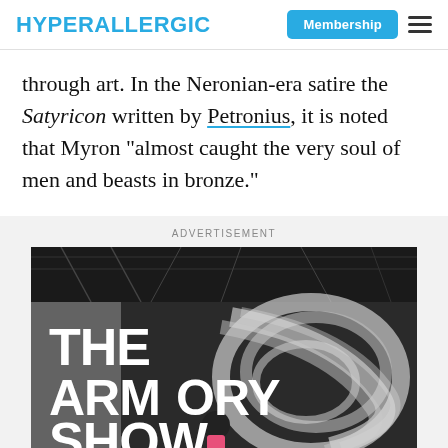HYPERALLERGIC | Membership
through art. In the Neronian-era satire the Satyricon written by Petronius, it is noted that Myron “almost caught the very soul of men and beasts in bronze.”
ADVERTISEMENT
[Figure (photo): Advertisement image for The Armory Show, showing white bold text 'THE ARMORY SHOW' over a dark exhibition hall interior with sculptural swirling form and a visitor in the foreground wearing a pink top.]